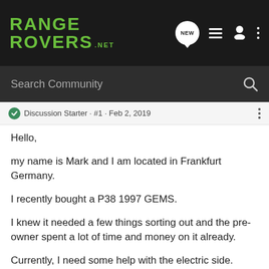RANGE ROVERS .NET
Search Community
Discussion Starter · #1 · Feb 2, 2019
Hello,
my name is Mark and I am located in Frankfurt Germany.
I recently bought a P38 1997 GEMS.
I knew it needed a few things sorting out and the pre-owner spent a lot of time and money on it already.
Currently, I need some help with the electric side.
The License plate bulbs are always on, as soon as the battery is connected. no way to turn them off. This of course drains the battery pretty quickly.